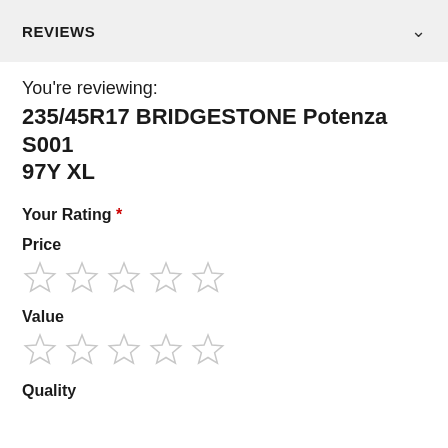REVIEWS
You're reviewing:
235/45R17 BRIDGESTONE Potenza S001 97Y XL
Your Rating *
Price
[Figure (other): Five empty star rating icons for Price]
Value
[Figure (other): Five empty star rating icons for Value]
Quality